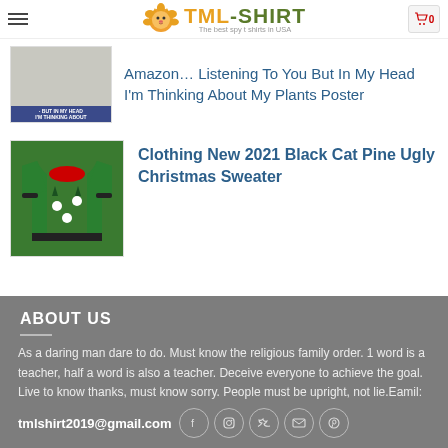TML-SHIRT — The best spy t shirts in USA
[Figure (screenshot): Product thumbnail: poster with text 'But In My Head I'm Thinking About My Plants']
Amazon... Listening To You But In My Head I'm Thinking About My Plants Poster
[Figure (photo): Green ugly Christmas sweater with black cat and pine tree design]
Clothing New 2021 Black Cat Pine Ugly Christmas Sweater
ABOUT US
As a daring man dare to do. Must know the religious family order. 1 word is a teacher, half a word is also a teacher. Deceive everyone to achieve the goal. Live to know thanks, must know sorry. People must be upright, not lie.Eamil: tmlshirt2019@gmail.com